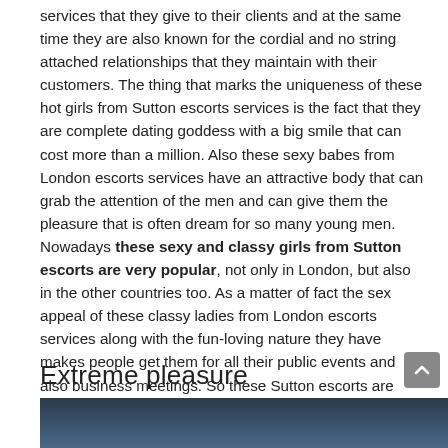services that they give to their clients and at the same time they are also known for the cordial and no string attached relationships that they maintain with their customers. The thing that marks the uniqueness of these hot girls from Sutton escorts services is the fact that they are complete dating goddess with a big smile that can cost more than a million. Also these sexy babes from London escorts services have an attractive body that can grab the attention of the men and can give them the pleasure that is often dream for so many young men. Nowadays these sexy and classy girls from Sutton escorts are very popular, not only in London, but also in the other countries too. As a matter of fact the sex appeal of these classy ladies from London escorts services along with the fun-loving nature they have makes people get them for all their public events and also business meetings. So these Sutton escorts are very well trained in the etiquette and the behaviour that they need to carry while they are in business meetings or other events and this is what makes these sexy babes to be the most desirable among guys for sure.
Extreme pleasure
[Figure (photo): Bottom portion of an image with dark blue/teal gradient, partially visible at the bottom of the page.]